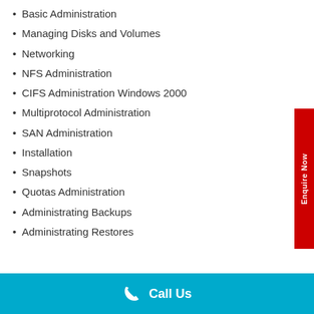Basic Administration
Managing Disks and Volumes
Networking
NFS Administration
CIFS Administration Windows 2000
Multiprotocol Administration
SAN Administration
Installation
Snapshots
Quotas Administration
Administrating Backups
Administrating Restores
Enquire Now
Call Us